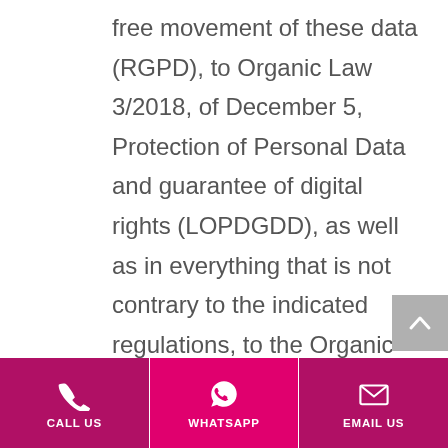free movement of these data (RGPD), to Organic Law 3/2018, of December 5, Protection of Personal Data and guarantee of digital rights (LOPDGDD), as well as in everything that is not contrary to the indicated regulations, to the Organic Law 15/1999, on the Protection of Personal Data (LOPD) and its implementing regulations, and / or those that could replace or update them in the future.
Our organization is committed to the privacy of your personal data. The personal data provided is necessary to provide our services and are treated in a lawful, loyal and transparent manner,
CALL US | WHATSAPP | EMAIL US